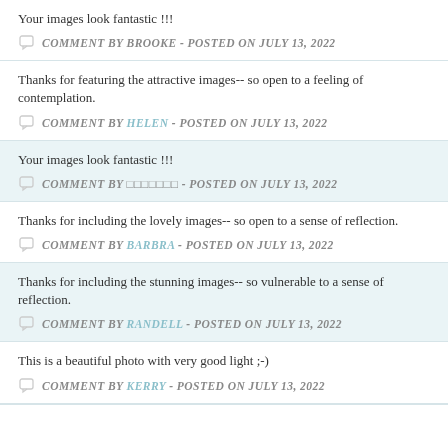Your images look fantastic !!!
COMMENT BY BROOKE - POSTED ON JULY 13, 2022
Thanks for featuring the attractive images-- so open to a feeling of contemplation.
COMMENT BY HELEN - POSTED ON JULY 13, 2022
Your images look fantastic !!!
COMMENT BY ??????? - POSTED ON JULY 13, 2022
Thanks for including the lovely images-- so open to a sense of reflection.
COMMENT BY BARBRA - POSTED ON JULY 13, 2022
Thanks for including the stunning images-- so vulnerable to a sense of reflection.
COMMENT BY RANDELL - POSTED ON JULY 13, 2022
This is a beautiful photo with very good light ;-)
COMMENT BY KERRY - POSTED ON JULY 13, 2022